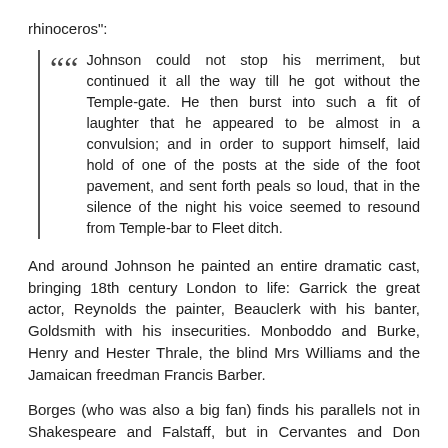rhinoceros":
Johnson could not stop his merriment, but continued it all the way till he got without the Temple-gate. He then burst into such a fit of laughter that he appeared to be almost in a convulsion; and in order to support himself, laid hold of one of the posts at the side of the foot pavement, and sent forth peals so loud, that in the silence of the night his voice seemed to resound from Temple-bar to Fleet ditch.
And around Johnson he painted an entire dramatic cast, bringing 18th century London to life: Garrick the great actor, Reynolds the painter, Beauclerk with his banter, Goldsmith with his insecurities. Monboddo and Burke, Henry and Hester Thrale, the blind Mrs Williams and the Jamaican freedman Francis Barber.
Borges (who was also a big fan) finds his parallels not in Shakespeare and Falstaff, but in Cervantes and Don Quixote. He (rather implausibly) suggests that every Quixote needs his Sancho, and "Boswell appears as a despicable character" deliberately to create a contrast.4
And in the 1830s, two brilliant and influential reviews were written by two